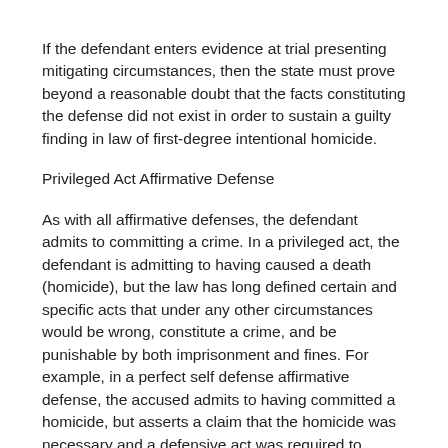If the defendant enters evidence at trial presenting mitigating circumstances, then the state must prove beyond a reasonable doubt that the facts constituting the defense did not exist in order to sustain a guilty finding in law of first-degree intentional homicide.
Privileged Act Affirmative Defense
As with all affirmative defenses, the defendant admits to committing a crime. In a privileged act, the defendant is admitting to having caused a death (homicide), but the law has long defined certain and specific acts that under any other circumstances would be wrong, constitute a crime, and be punishable by both imprisonment and fines. For example, in a perfect self defense affirmative defense, the accused admits to having committed a homicide, but asserts a claim that the homicide was necessary and a defensive act was required to protect himself or another from imminent death or serious bodily injury. In other words, the defendant is asking the state to excuse him of criminal liability for the murder he committed.
A police officer who in pursuit of a fleeing felon shoots and kills the felon may be privileged under the law. Whether his act if privileged depends on many factors, but generally speaking, the act would be